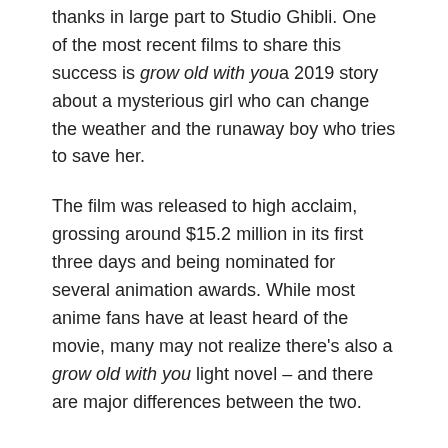thanks in large part to Studio Ghibli. One of the most recent films to share this success is grow old with you a 2019 story about a mysterious girl who can change the weather and the runaway boy who tries to save her.
The film was released to high acclaim, grossing around $15.2 million in its first three days and being nominated for several animation awards. While most anime fans have at least heard of the movie, many may not realize there's also a grow old with you light novel – and there are major differences between the two.
RELATED: Anime Movies To Watch After Belle – And Where To Find Them